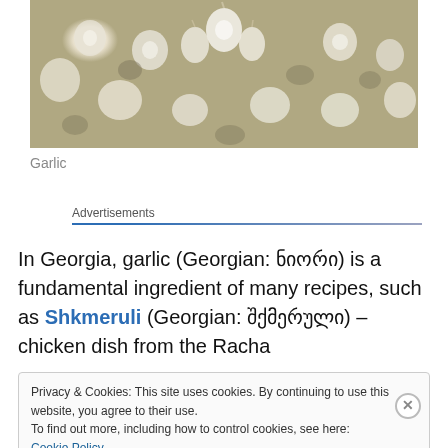[Figure (photo): Close-up photo of many white garlic bulbs/heads piled together]
Garlic
Advertisements
In Georgia, garlic (Georgian: ნიორი) is a fundamental ingredient of many recipes, such as Shkmeruli (Georgian: შქმერული) – chicken dish from the Racha
Privacy & Cookies: This site uses cookies. By continuing to use this website, you agree to their use.
To find out more, including how to control cookies, see here: Cookie Policy